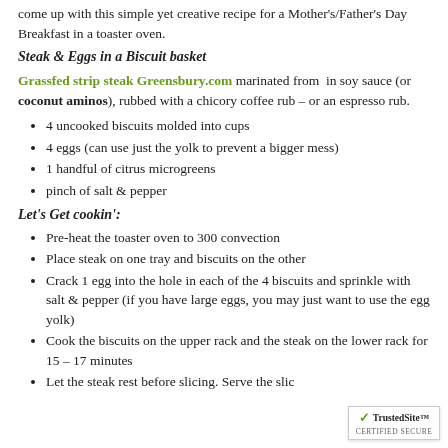come up with this simple yet creative recipe for a Mother's/Father's Day Breakfast in a toaster oven.
Steak & Eggs in a Biscuit basket
Grassfed strip steak Greensbury.com marinated from in soy sauce (or coconut aminos), rubbed with a chicory coffee rub – or an espresso rub.
4 uncooked biscuits molded into cups
4 eggs (can use just the yolk to prevent a bigger mess)
1 handful of citrus microgreens
pinch of salt & pepper
Let's Get cookin':
Pre-heat the toaster oven to 300 convection
Place steak on one tray and biscuits on the other
Crack 1 egg into the hole in each of the 4 biscuits and sprinkle with salt & pepper (if you have large eggs, you may just want to use the egg yolk)
Cook the biscuits on the upper rack and the steak on the lower rack for 15 – 17 minutes
Let the steak rest before slicing. Serve the slic…